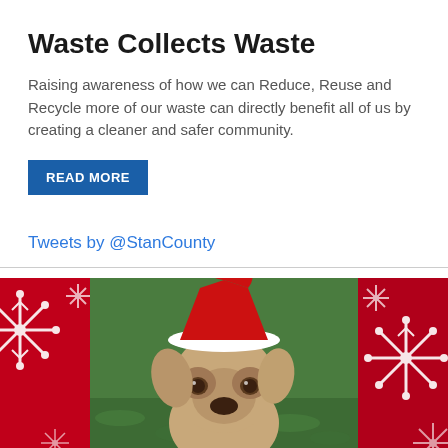Waste Collects Waste
Raising awareness of how we can Reduce, Reuse and Recycle more of our waste can directly benefit all of us by creating a cleaner and safer community.
READ MORE
Tweets by @StanCounty
[Figure (photo): A dog wearing a red Santa hat, sitting on green grass, flanked on both sides by red Christmas panels with white snowflake decorations.]